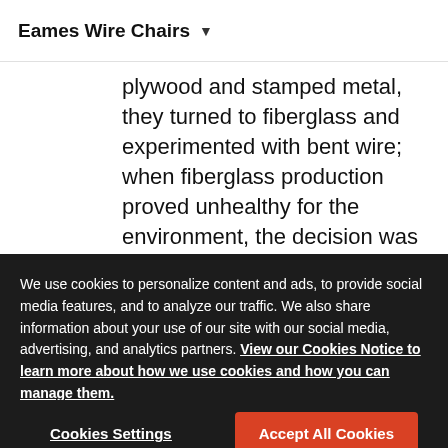Eames Wire Chairs ▾
plywood and stamped metal, they turned to fiberglass and experimented with bent wire; when fiberglass production proved unhealthy for the environment, the decision was made to switch production to a safer plastic; and now, with advancements in safe fiberglass composition and dynamic veneer technologies,
We use cookies to personalize content and ads, to provide social media features, and to analyze our traffic. We also share information about your use of our site with our social media, advertising, and analytics partners. View our Cookies Notice to learn more about how we use cookies and how you can manage them.
Cookies Settings
Accept All Cookies